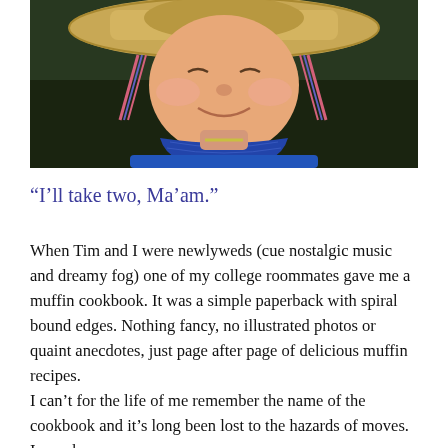[Figure (photo): Close-up photo of a young child smiling, wearing a straw cowboy hat with braided string decorations hanging down, and a blue bandana/neckerchief, with a blue shirt visible. Dark green/nature background.]
“I’ll take two, Ma’am.”
When Tim and I were newlyweds (cue nostalgic music and dreamy fog) one of my college roommates gave me a muffin cookbook. It was a simple paperback with spiral bound edges. Nothing fancy, no illustrated photos or quaint anecdotes, just page after page of delicious muffin recipes.
I can't for the life of me remember the name of the cookbook and it's long been lost to the hazards of moves. I may have